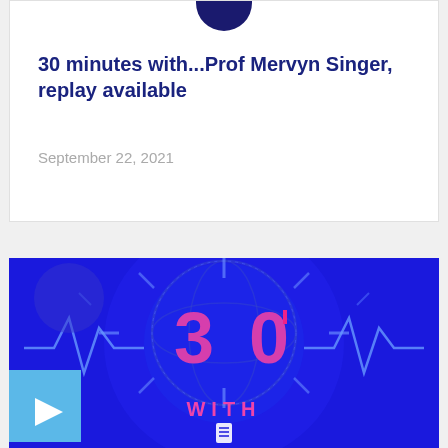[Figure (illustration): Partial profile circle/avatar at top of card]
30 minutes with...Prof Mervyn Singer, replay available
September 22, 2021
[Figure (illustration): Promotional banner image with blue background showing the number 30 with a power button style O icon and text WITH below it, with heartbeat waveline graphics and a play button overlay in the bottom left]